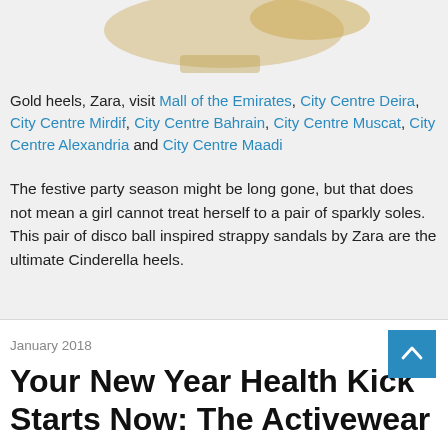[Figure (photo): Partial view of gold sparkly strappy heels by Zara against white background]
Gold heels, Zara, visit Mall of the Emirates, City Centre Deira, City Centre Mirdif, City Centre Bahrain, City Centre Muscat, City Centre Alexandria and City Centre Maadi
The festive party season might be long gone, but that does not mean a girl cannot treat herself to a pair of sparkly soles. This pair of disco ball inspired strappy sandals by Zara are the ultimate Cinderella heels.
January 2018
Your New Year Health Kick Starts Now: The Activewear